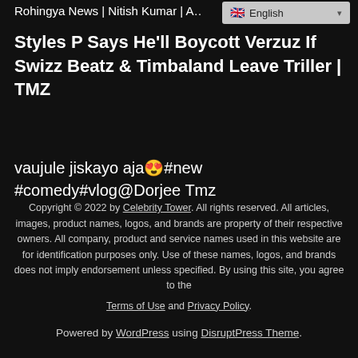Rohingya News | Nitish Kumar | A…
Styles P Says He'll Boycott Verzuz If Swizz Beatz & Timbaland Leave Triller | TMZ
vaujule jiskayo aja😍#new #comedy#vlog@Dorjee Tmz
Copyright © 2022 by Celebrity Tower. All rights reserved. All articles, images, product names, logos, and brands are property of their respective owners. All company, product and service names used in this website are for identification purposes only. Use of these names, logos, and brands does not imply endorsement unless specified. By using this site, you agree to the Terms of Use and Privacy Policy.

Powered by WordPress using DisruptPress Theme.